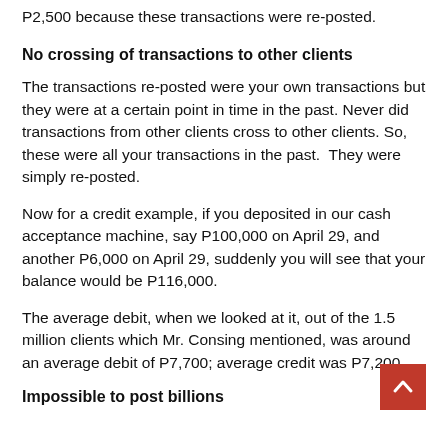P2,500 because these transactions were re-posted.
No crossing of transactions to other clients
The transactions re-posted were your own transactions but they were at a certain point in time in the past. Never did transactions from other clients cross to other clients. So, these were all your transactions in the past.  They were simply re-posted.
Now for a credit example, if you deposited in our cash acceptance machine, say P100,000 on April 29, and another P6,000 on April 29, suddenly you will see that your balance would be P116,000.
The average debit, when we looked at it, out of the 1.5 million clients which Mr. Consing mentioned, was around an average debit of P7,700; average credit was P7,200.
Impossible to post billions